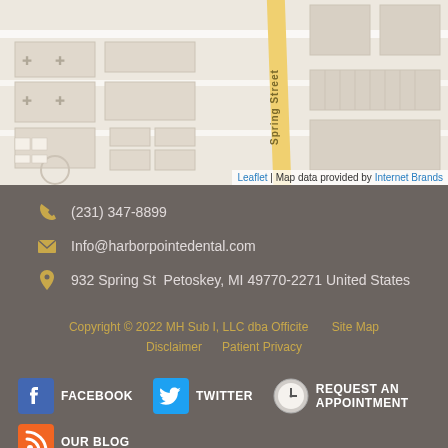[Figure (map): Street map showing Spring Street area with roads and buildings outlined]
Leaflet | Map data provided by Internet Brands
(231) 347-8899
Info@harborpointedental.com
932 Spring St  Petoskey, MI 49770-2271 United States
Copyright © 2022 MH Sub I, LLC dba Officite    Site Map
Disclaimer    Patient Privacy
FACEBOOK
TWITTER
REQUEST AN APPOINTMENT
OUR BLOG